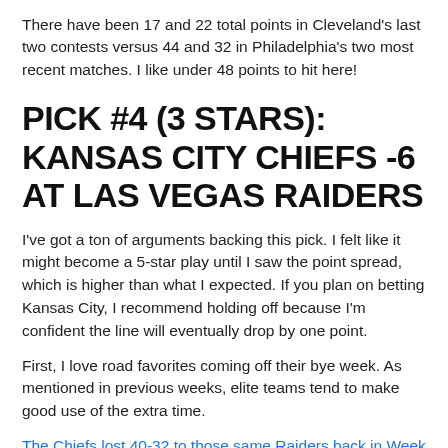There have been 17 and 22 total points in Cleveland's last two contests versus 44 and 32 in Philadelphia's two most recent matches. I like under 48 points to hit here!
PICK #4 (3 STARS): KANSAS CITY CHIEFS -6 AT LAS VEGAS RAIDERS
I've got a ton of arguments backing this pick. I felt like it might become a 5-star play until I saw the point spread, which is higher than what I expected. If you plan on betting Kansas City, I recommend holding off because I'm confident the line will eventually drop by one point.
First, I love road favorites coming off their bye week. As mentioned in previous weeks, elite teams tend to make good use of the extra time.
The Chiefs lost 40-32 to those same Raiders back in Week